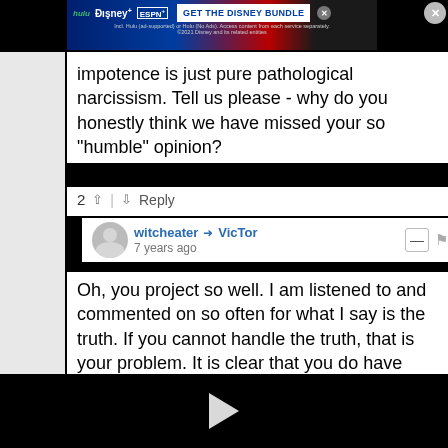[Figure (screenshot): Disney Bundle advertisement banner with Hulu, Disney+, ESPN+ logos and GET THE DISNEY BUNDLE call to action]
impotence is just pure pathological narcissism. Tell us please - why do you honestly think we have missed your so "humble" opinion?
2 ∧ | ∨ Reply
witcheater → VicTor
7 years ago
Oh, you project so well. I am listened to and commented on so often for what I say is the truth. If you cannot handle the truth, that is your problem. It is clear that you do have problems.
[Figure (screenshot): Black video player area with a white play button triangle in the center]